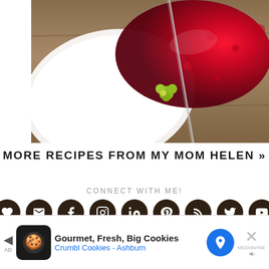[Figure (photo): Food photo showing a white plate with red jam/sauce and a decorative green flower, with a fork, on a wooden surface]
MORE RECIPES FROM MY MOM HELEN »
CONNECT WITH ME!
[Figure (infographic): Row of 9 dark brown circular social media icon buttons: heart/Bloglovin, email, Facebook, Instagram, LinkedIn, Pinterest, RSS, Twitter, YouTube]
[Figure (infographic): Advertisement banner: Gourmet, Fresh, Big Cookies - Crumbl Cookies - Ashburn, with cookie logo, navigation arrow icon, and close button with Mediavine label]